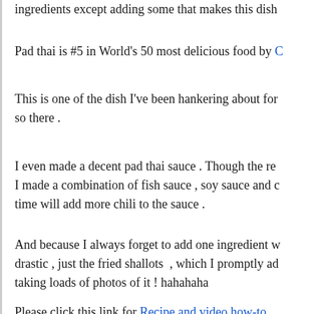ingredients except adding some that makes this dish
Pad thai is #5 in World's 50 most delicious food by C
This is one of the dish I've been hankering about for so there .
I even made a decent pad thai sauce . Though the re I made a combination of fish sauce , soy sauce and c time will add more chili to the sauce .
And because I always forget to add one ingredient w drastic , just the fried shallots , which I promptly ad taking loads of photos of it ! hahahaha
Please click this link for Recipe and video how-to